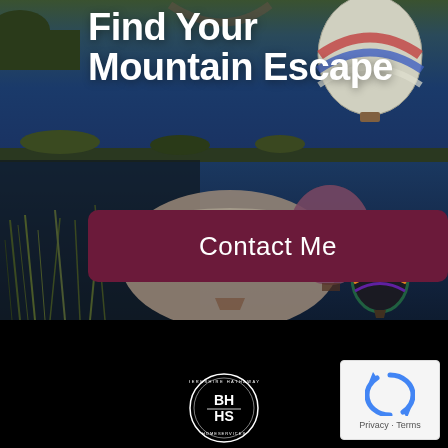[Figure (photo): Hot air balloons reflected in a calm lake/river at dusk, with grassy banks and mountains in the background. Multiple colorful balloons visible in the upper portion and their reflections in the water below.]
Find Your Mountain Escape
Contact Me
[Figure (logo): Berkshire Hathaway HomeServices (BHHS) circular logo in white on dark background]
[Figure (logo): Google reCAPTCHA logo/widget with Privacy and Terms text]